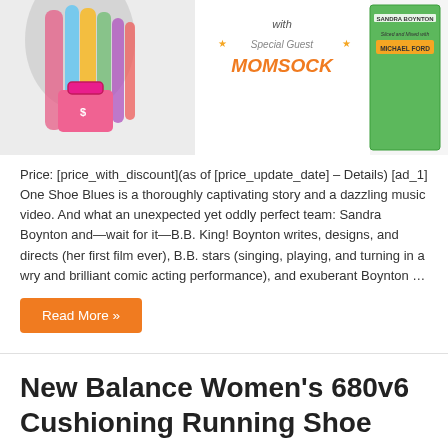[Figure (photo): Book cover image for 'One Shoe Blues' featuring colorful striped socks, a pink purse, and the title with Special Guest Momsock; also shows author Sandra Boynton edited and mixed with Michael Ford]
Price: [price_with_discount](as of [price_update_date] – Details) [ad_1] One Shoe Blues is a thoroughly captivating story and a dazzling music video. And what an unexpected yet oddly perfect team: Sandra Boynton and—wait for it—B.B. King! Boynton writes, designs, and directs (her first film ever), B.B. stars (singing, playing, and turning in a wry and brilliant comic acting performance), and exuberant Boynton …
Read More »
New Balance Women's 680v6 Cushioning Running Shoe
January 23, 2020  0  106
[Figure (photo): Gray New Balance Women's 680v6 Cushioning Running Shoe]